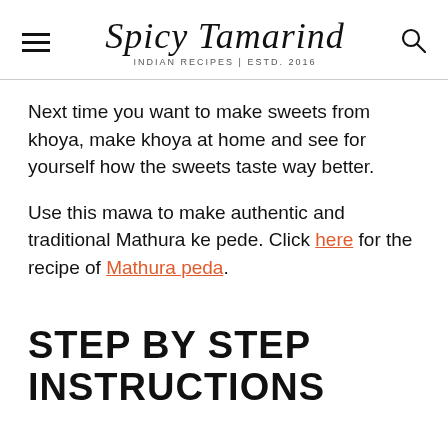Spicy Tamarind — INDIAN RECIPES | ESTD. 2016
Next time you want to make sweets from khoya, make khoya at home and see for yourself how the sweets taste way better.
Use this mawa to make authentic and traditional Mathura ke pede. Click here for the recipe of Mathura peda.
STEP BY STEP INSTRUCTIONS